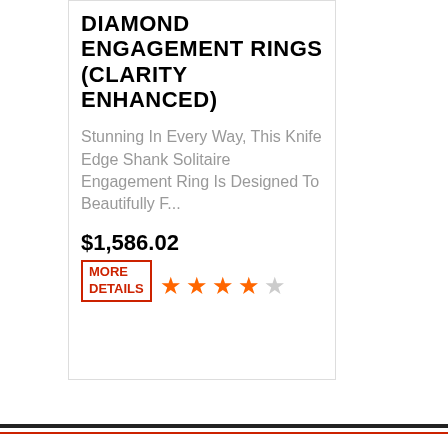DIAMOND ENGAGEMENT RINGS (CLARITY ENHANCED)
Stunning In Every Way, This Knife Edge Shank Solitaire Engagement Ring Is Designed To Beautifully F...
$1,586.02
MORE DETAILS
[Figure (other): Star rating: 3.5 out of 5 stars (orange filled stars with one empty star)]